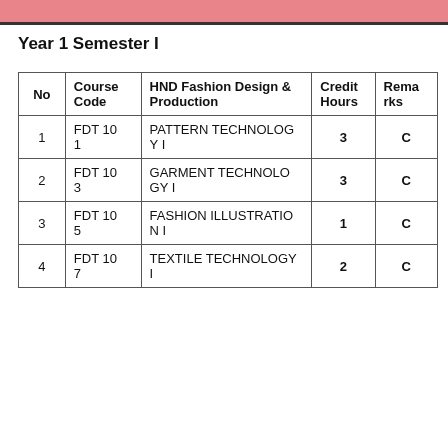Year 1 Semester I
| No | Course Code | HND Fashion Design & Production | Credit Hours | Remarks |
| --- | --- | --- | --- | --- |
| 1 | FDT 101 | PATTERN TECHNOLOGY I | 3 | C |
| 2 | FDT 103 | GARMENT TECHNOLOGY I | 3 | C |
| 3 | FDT 105 | FASHION ILLUSTRATION I | 1 | C |
| 4 | FDT 107 | TEXTILE TECHNOLOGY I | 2 | C |